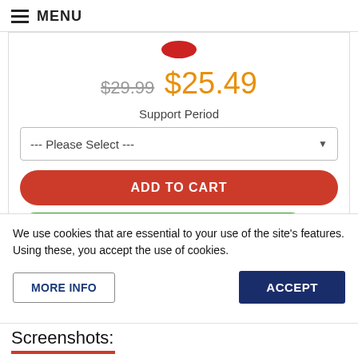MENU
[Figure (screenshot): Product page screenshot showing old price $29.99 crossed out and new price $25.49 in orange, a Support Period dropdown saying Please Select, an Add to Cart red button, and a partial green button below.]
We use cookies that are essential to your use of the site's features. Using these, you accept the use of cookies.
MORE INFO
ACCEPT
Screenshots: